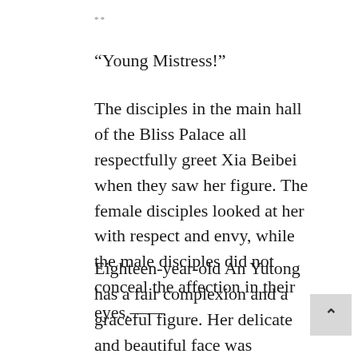**
“Young Mistress!”
The disciples in the main hall of the Bliss Palace all respectfully greet Xia Beibei when they saw her figure. The female disciples looked at her with respect and envy, while the male disciples did not conceal the affection in their eyes.——
Eighteen-year-old An Yutong has a fair complexion and a graceful figure. Her delicate and beautiful face was enhanced with a pair of charming and